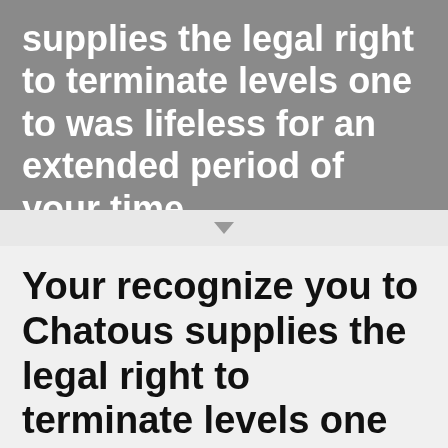supplies the legal right to terminate levels one to was lifeless for an extended period of your time
Your recognize you to Chatous supplies the legal right to terminate levels one to was lifeless for an extended period of your time